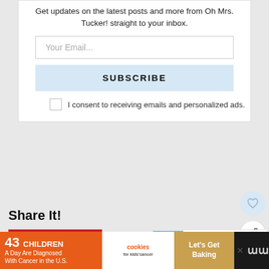Get updates on the latest posts and more from Oh Mrs. Tucker! straight to your inbox.
Your Email...
SUBSCRIBE
I consent to receiving emails and personalized ads.
Share It!
[Figure (screenshot): Pinterest share button, red background with white P logo]
[Figure (screenshot): Next post widget showing Motion Sickness... with thumbnail of building]
By Patti Tucker
[Figure (infographic): Advertisement banner: 43 CHILDREN A Day Are Diagnosed With Cancer in the U.S. — cookies for kids cancer — Let's Get Baking]